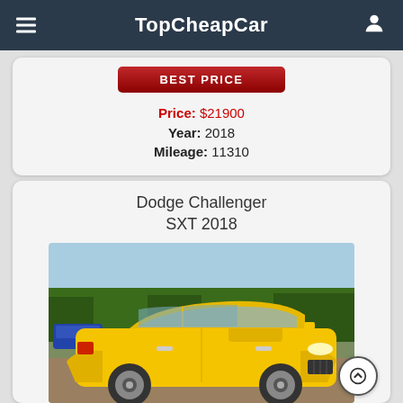TopCheapCar
BEST PRICE
Price: $21900
Year: 2018
Mileage: 11310
Dodge Challenger SXT 2018
[Figure (photo): Yellow Dodge Challenger SXT 2018 parked outdoors, side/front view, trees in background]